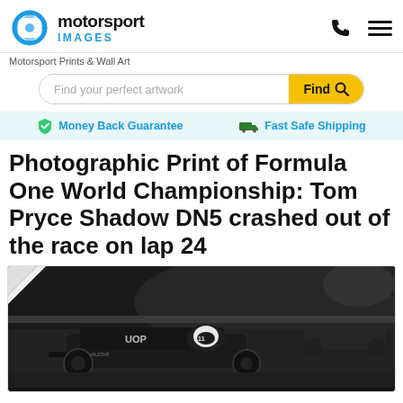motorsport IMAGES
Motorsport Prints & Wall Art
Find your perfect artwork
Money Back Guarantee
Fast Safe Shipping
Photographic Print of Formula One World Championship: Tom Pryce Shadow DN5 crashed out of the race on lap 24
[Figure (photo): Black and white / dark-toned photograph of a Formula One racing car (Shadow DN5 driven by Tom Pryce) on a race circuit, with driver visible in cockpit wearing white helmet, dark bodywork with UOP branding, shot at track level]